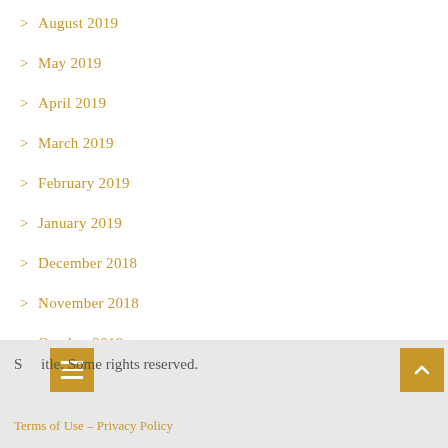August 2019
May 2019
April 2019
March 2019
February 2019
January 2019
December 2018
November 2018
October 2018
September 2018
August 2018
S  itle, Some rights reserved.
Terms of Use – Privacy Policy